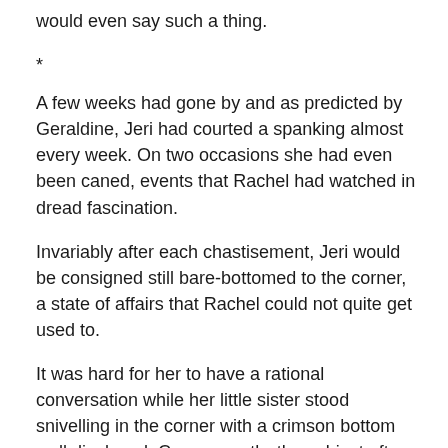would even say such a thing.
*
A few weeks had gone by and as predicted by Geraldine, Jeri had courted a spanking almost every week. On two occasions she had even been caned, events that Rachel had watched in dread fascination.
Invariably after each chastisement, Jeri would be consigned still bare-bottomed to the corner, a state of affairs that Rachel could not quite get used to.
It was hard for her to have a rational conversation while her little sister stood snivelling in the corner with a crimson bottom well displayed. Consequently, the subject often turned to Africa and Geraldine's spanking adventures there.